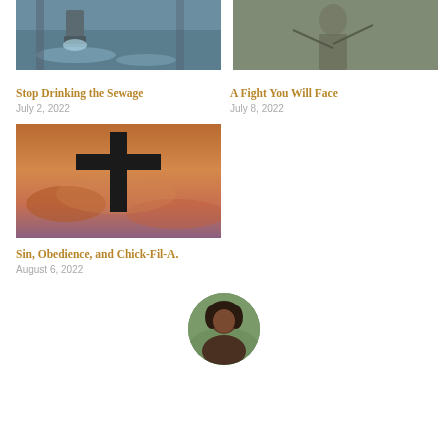[Figure (photo): Water flowing from a drain or pipe into a body of water, sewage imagery]
Stop Drinking the Sewage
July 2, 2022
[Figure (photo): Person in period or outdoor clothing holding ropes or reins, fighting imagery]
A Fight You Will Face
July 8, 2022
[Figure (photo): Silhouette of a cross against a dramatic sunset sky with orange and purple clouds]
Sin, Obedience, and Chick-Fil-A.
August 6, 2022
[Figure (photo): Circular avatar portrait of a person with dark curly hair against a green background]